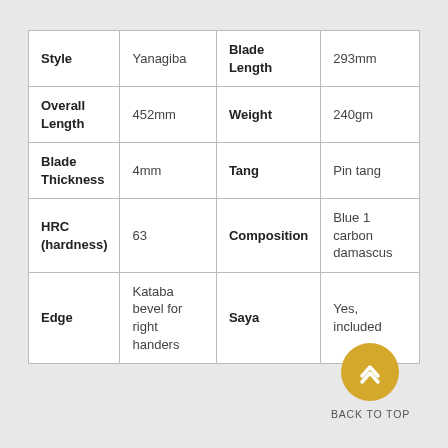| Style | Yanagiba | Blade Length | 293mm |
| Overall Length | 452mm | Weight | 240gm |
| Blade Thickness | 4mm | Tang | Pin tang |
| HRC (hardness) | 63 | Composition | Blue 1 carbon damascus |
| Edge | Kataba bevel for right handers | Saya | Yes, included |
[Figure (illustration): Yellow circle with upward chevron arrow icon and 'BACK TO TOP' label below]